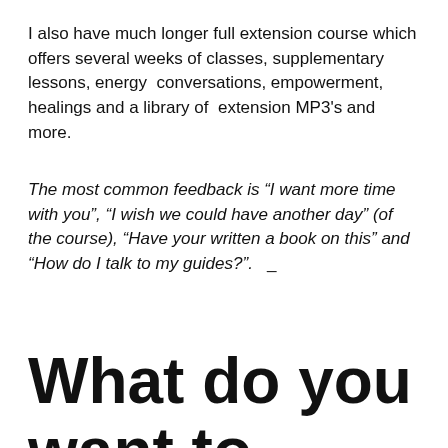I also have much longer full extension course which offers several weeks of classes, supplementary lessons, energy  conversations, empowerment, healings and a library of  extension MP3's and more.
The most common feedback is “I want more time with you”, “I wish we could have another day” (of the course), “Have your written a book on this” and “How do I talk to my guides?”.  _
What do you want to achieve for yourself in